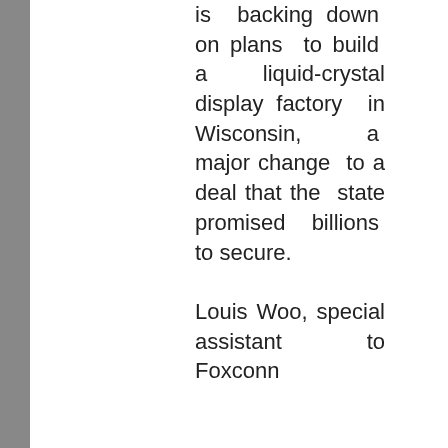is backing down on plans to build a liquid-crystal display factory in Wisconsin, a major change to a deal that the state promised billions to secure.

Louis Woo, special assistant to Foxconn